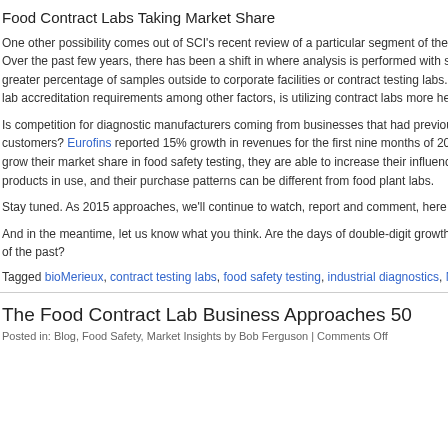Food Contract Labs Taking Market Share
One other possibility comes out of SCI's recent review of a particular segment of the Over the past few years, there has been a shift in where analysis is performed with s greater percentage of samples outside to corporate facilities or contract testing labs. lab accreditation requirements among other factors, is utilizing contract labs more he
Is competition for diagnostic manufacturers coming from businesses that had previou customers? Eurofins reported 15% growth in revenues for the first nine months of 20 grow their market share in food safety testing, they are able to increase their influenc products in use, and their purchase patterns can be different from food plant labs.
Stay tuned. As 2015 approaches, we'll continue to watch, report and comment, here
And in the meantime, let us know what you think. Are the days of double-digit growth of the past?
Tagged bioMerieux, contract testing labs, food safety testing, industrial diagnostics, N
The Food Contract Lab Business Approaches 50
Posted in: Blog, Food Safety, Market Insights by Bob Ferguson | Comments Off